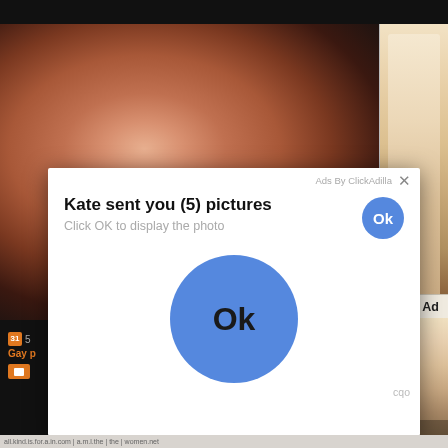[Figure (screenshot): Screenshot of a web browser showing an adult video website with a blurred skin-tone photo background, a right sidebar with a blonde woman, and various UI elements including a [x] Close Ad button.]
[x] Close Ad
Ads By ClickAdilla ×
Kate sent you (5) pictures
Click OK to display the photo
Ok
Ok
cqo
Gay p
all.kind.is.for.a.in.com | a.m.l.the | the | women.net